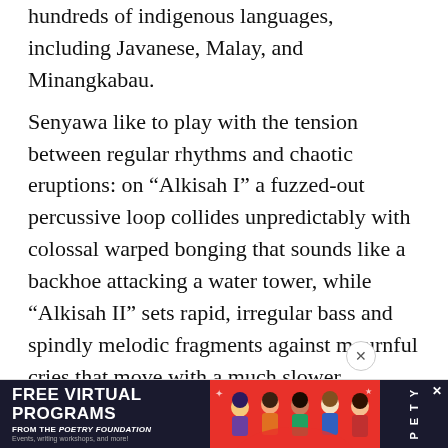hundreds of indigenous languages, including Javanese, Malay, and Minangkabau. Senyawa like to play with the tension between regular rhythms and chaotic eruptions: on “Alkisah I” a fuzzed-out percussive loop collides unpredictably with colossal warped bonging that sounds like a backhoe attacking a water tower, while “Alkisah II” sets rapid, irregular bass and spindly melodic fragments against mournful cries that move with a much slower metabolism, as though they belong to a different song. “Istana” pairs a crawling doom-metal riff and clouds of cicadalike buzzing with a trumpeting, outraged lead vocal that delivers a kind of halting oratory. Shabara’s tremulous, urgent melody on “Kabau” swings from desperate
[Figure (infographic): Advertisement banner for Free Virtual Programs from the Poetry Foundation. Left dark navy section with white bold text reading FREE VIRTUAL PROGRAMS FROM THE POETRY FOUNDATION, Events, writing workshops, and more! Middle red section with illustrated figures of people. Right dark navy section with PETY text vertically and an X close button.]